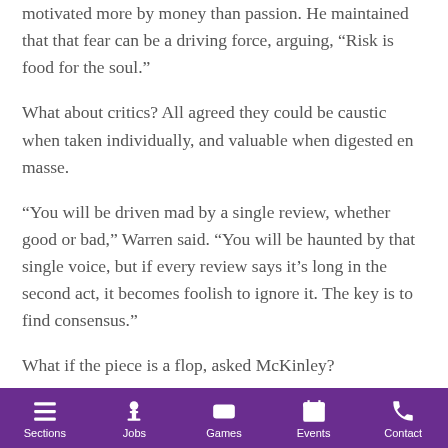motivated more by money than passion. He maintained that that fear can be a driving force, arguing, “Risk is food for the soul.”
What about critics? All agreed they could be caustic when taken individually, and valuable when digested en masse.
“You will be driven mad by a single review, whether good or bad,” Warren said. “You will be haunted by that single voice, but if every review says it’s long in the second act, it becomes foolish to ignore it. The key is to find consensus.”
What if the piece is a flop, asked McKinley?
“We wouldn’t know,” deadpanned Rudnick to laughs, adding that there are individuals whose voice he respects. Among
Sections | Jobs | Games | Events | Contact